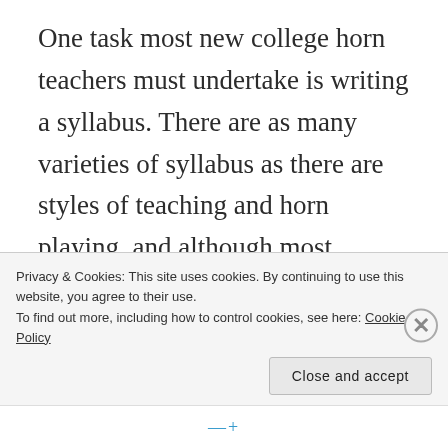One task most new college horn teachers must undertake is writing a syllabus. There are as many varieties of syllabus as there are styles of teaching and horn playing, and although most universities have at least some requirements regarding the form and content of the syllabus, many things are left up to the discretion of the instructor. I remember feeling slightly overwhelmed when I sat down to write my first applied horn syllabus. I'm sure many of the questions running through my mind at the time are
Privacy & Cookies: This site uses cookies. By continuing to use this website, you agree to their use.
To find out more, including how to control cookies, see here: Cookie Policy
Close and accept